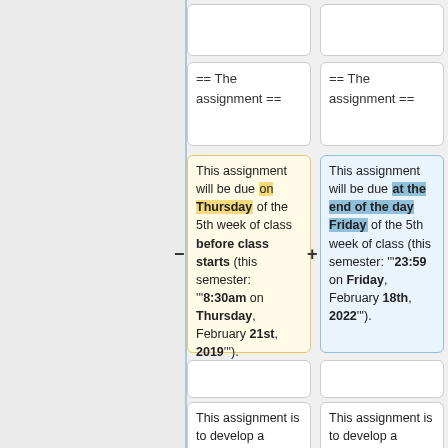[Figure (screenshot): Diff view showing two columns of wiki-style text with removed (yellow) and added (blue) content. Left column shows old assignment due date (Thursday before class, 8:30am Feb 21 2019), right column shows new due date (end of day Friday, 23:59 Feb 18 2022).]
== The assignment ==
== The assignment ==
This assignment will be due on Thursday of the 5th week of class before class starts (this semester: '''8:30am on Thursday, February 21st, 2019''').
This assignment will be due at the end of the day Friday of the 5th week of class (this semester: '''23:59 on Friday, February 18th, 2022''').
This assignment is to develop a morphological analyser that implements a
This assignment is to develop a morphological analyser that implements a